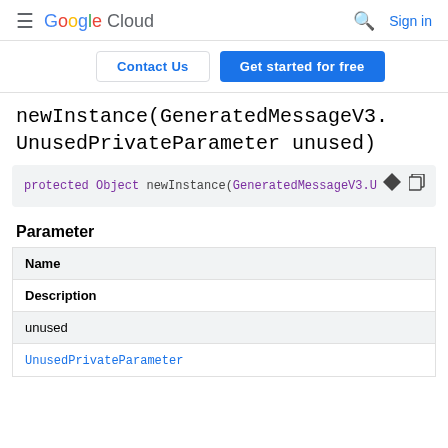Google Cloud  Sign in
Contact Us  Get started for free
newInstance(GeneratedMessageV3.UnusedPrivateParameter unused)
[Figure (screenshot): Code block showing: protected Object newInstance(GeneratedMessageV3.U...]
Parameter
| Name |
| --- |
| Description |
| unused |
| UnusedPrivateParameter |